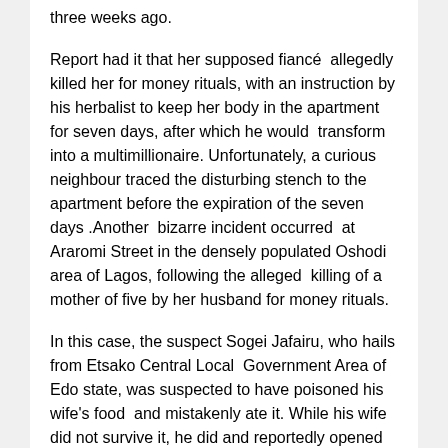three weeks ago.
Report had it that her supposed fiancé  allegedly killed her for money rituals, with an instruction by his herbalist to keep her body in the apartment for seven days, after which he would  transform into a multimillionaire. Unfortunately, a curious neighbour traced the disturbing stench to the apartment before the expiration of the seven days .Another  bizarre incident occurred  at Araromi Street in the densely populated Oshodi area of Lagos, following the alleged  killing of a mother of five by her husband for money rituals.
In this case, the suspect Sogei Jafairu, who hails from Etsako Central Local  Government Area of Edo state, was suspected to have poisoned his wife's food  and mistakenly ate it. While his wife did not survive it, he did and reportedly opened up on his deed.
Again in Lagos, One Sherifat Bello  was arrested by the Police after  he confessed to killing his wife and burying